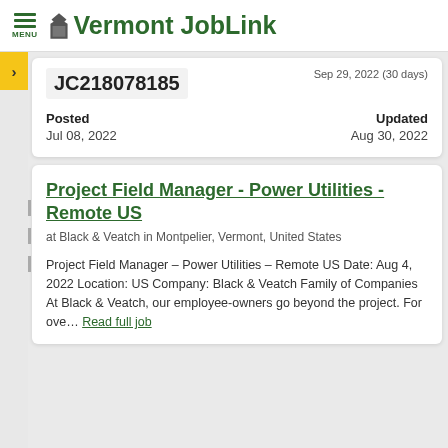Vermont JobLink
JC218078185
Sep 29, 2022 (30 days)
Posted
Jul 08, 2022
Updated
Aug 30, 2022
Project Field Manager - Power Utilities - Remote US
at Black & Veatch in Montpelier, Vermont, United States
Project Field Manager – Power Utilities – Remote US Date: Aug 4, 2022 Location: US Company: Black & Veatch Family of Companies At Black & Veatch, our employee-owners go beyond the project. For ove… Read full job details